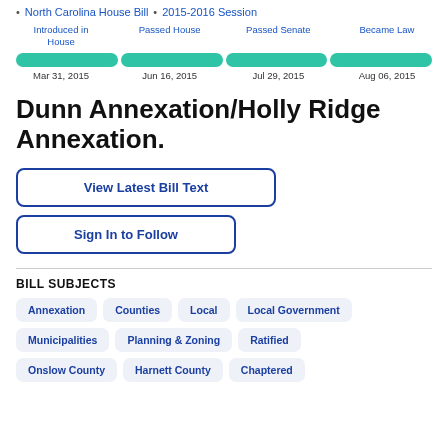North Carolina House Bill • 2015-2016 Session
[Figure (infographic): Legislative progress timeline with four stages: Introduced in House (Mar 31, 2015), Passed House (Jun 16, 2015), Passed Senate (Jul 29, 2015), Became Law (Aug 06, 2015). Each stage shown as a teal/green rounded bar segment.]
Dunn Annexation/Holly Ridge Annexation.
View Latest Bill Text
Sign In to Follow
BILL SUBJECTS
Annexation
Counties
Local
Local Government
Municipalities
Planning & Zoning
Ratified
Onslow County
Harnett County
Chaptered